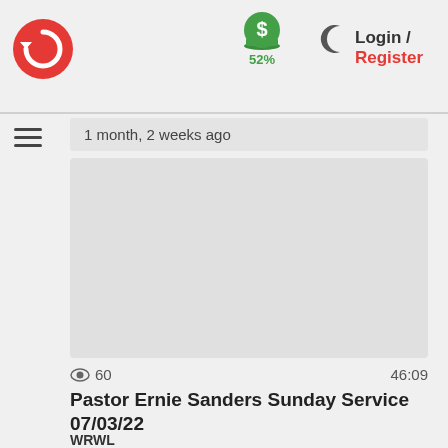[Figure (logo): Red circular logo with white refresh/recycle arrow icon]
[Figure (infographic): Green dollar coin icon with 52% text below]
[Figure (illustration): Dark crescent moon icon]
Login / Register
1 month, 2 weeks ago
[Figure (screenshot): Gray video thumbnail placeholder area]
👁 60   46:09
Pastor Ernie Sanders Sunday Service 07/03/22
WRWL
Re-establishing liberty throughout the land